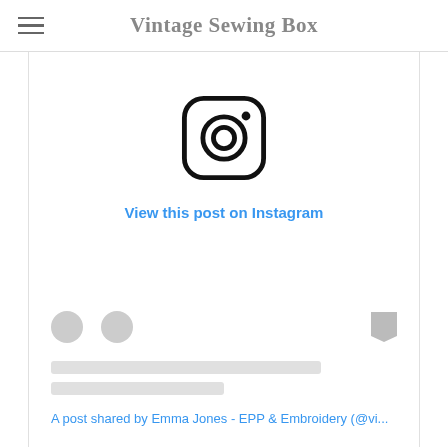Vintage Sewing Box
[Figure (screenshot): Instagram embed placeholder showing Instagram logo icon, 'View this post on Instagram' link, action icons (heart, comment, bookmark), loading skeleton lines, and attribution text 'A post shared by Emma Jones - EPP & Embroidery (@vi...']